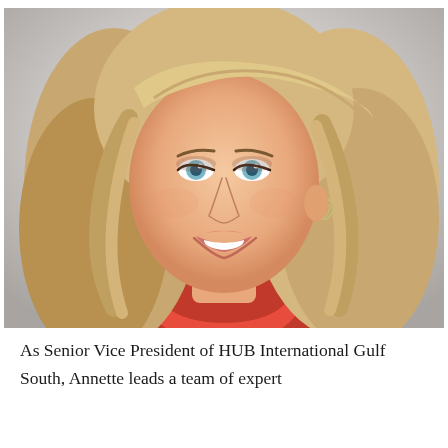[Figure (photo): Professional headshot of a blonde woman smiling, wearing a red turtleneck top and silver leaf-shaped earrings, photographed against a light grey/white background.]
As Senior Vice President of HUB International Gulf South, Annette leads a team of expert